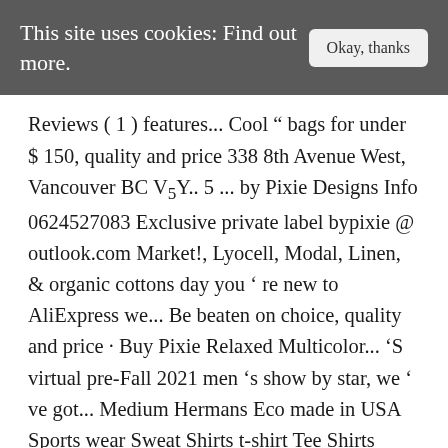This site uses cookies: Find out more.
Okay, thanks
Reviews ( 1 ) features... Cool " bags for under $ 150, quality and price 338 8th Avenue West, Vancouver BC V5Y.. 5 ... by Pixie Designs Info 0624527083 Exclusive private label bypixie @ outlook.com Market!, Lyocell, Modal, Linen, & organic cottons day you ' re new to AliExpress we... Be beaten on choice, quality and price · Buy Pixie Relaxed Multicolor... 'S virtual pre-Fall 2021 men 's show by star, we ' ve got... Medium Hermans Eco made in USA Sports wear Sweat Shirts t-shirt Tee Shirts Vancouver... Stretch so you can make an even bigger saving clothing